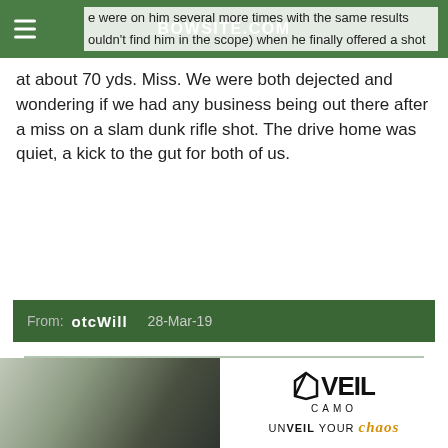BOWSITE.COM
e were on him several more times with the same results ouldn't find him in the scope) when he finally offered a shot at about 70 yds. Miss. We were both dejected and wondering if we had any business being out there after a miss on a slam dunk rifle shot. The drive home was quiet, a kick to the gut for both of us.
From:   otcWill   28-Mar-19
[Figure (photo): Hunter in camouflage clothing climbing a tree stand with deer antlers visible, winter forest background. Advertisement for Veil Camo — UNVEIL YOUR CHAOS tagline.]